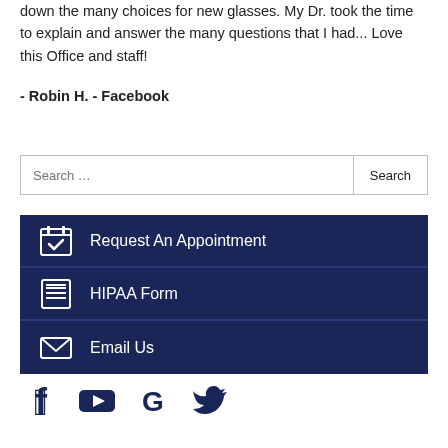down the many choices for new glasses. My Dr. took the time to explain and answer the many questions that I had... Love this Office and staff!
- Robin H. - Facebook
Search …
Request An Appointment
HIPAA Form
Email Us
[Figure (other): Social media icons: Facebook, YouTube, Google, Twitter]